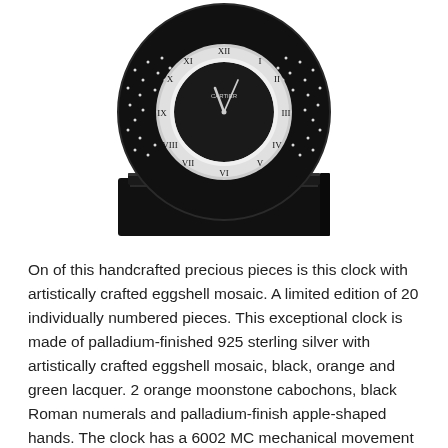[Figure (photo): A luxury Cartier table clock with a round black dial featuring artistically crafted eggshell mosaic decoration, white dot and lace-like patterns on the black background, a silver bezel with black Roman numerals, and apple-shaped hands. The clock sits on a rectangular black lacquer base with an orange moonstone cabochon on the front.]
On of this handcrafted precious pieces is this clock with artistically crafted eggshell mosaic. A limited edition of 20 individually numbered pieces. This exceptional clock is made of palladium-finished 925 sterling silver with artistically crafted eggshell mosaic, black, orange and green lacquer. 2 orange moonstone cabochons, black Roman numerals and palladium-finish apple-shaped hands. The clock has a 6002 MC mechanical movement with an 8-day power reserve.